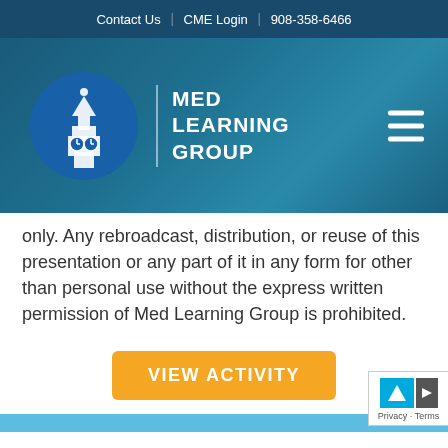Contact Us  |  CME Login  |  908-358-6466
[Figure (logo): Med Learning Group logo: circular blue emblem with white clock tower building, followed by vertical divider and text 'MED LEARNING GROUP' in white on teal/blue gradient background. Hamburger menu icon on the right.]
only. Any rebroadcast, distribution, or reuse of this presentation or any part of it in any form for other than personal use without the express written permission of Med Learning Group is prohibited.
[Figure (other): Orange button with white uppercase text 'VIEW ACTIVITY']
Privacy · Terms